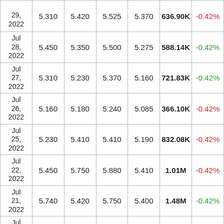| Date | Close | Open | High | Low | Volume | Change% |
| --- | --- | --- | --- | --- | --- | --- |
| Jul 29, 2022 | 5.310 | 5.420 | 5.525 | 5.370 | 636.90K | -0.42% |
| Jul 28, 2022 | 5.450 | 5.350 | 5.500 | 5.275 | 588.14K | -0.42% |
| Jul 27, 2022 | 5.310 | 5.230 | 5.370 | 5.160 | 721.83K | -0.42% |
| Jul 26, 2022 | 5.160 | 5.180 | 5.240 | 5.085 | 366.10K | -0.42% |
| Jul 25, 2022 | 5.230 | 5.410 | 5.410 | 5.190 | 832.08K | -0.42% |
| Jul 22, 2022 | 5.450 | 5.750 | 5.880 | 5.410 | 1.01M | -0.42% |
| Jul 21, 2022 | 5.740 | 5.420 | 5.750 | 5.400 | 1.48M | -0.42% |
| Jul 20, 2022 | 5.490 | 5.300 | 5.548 | 5.257 | 701.33K | -0.42% |